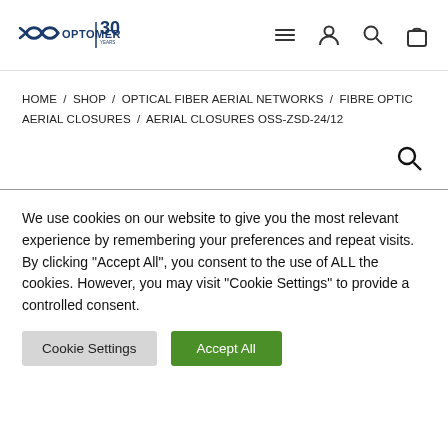[Figure (logo): Optomer logo with 30 years badge]
HOME / SHOP / OPTICAL FIBER AERIAL NETWORKS / FIBRE OPTIC AERIAL CLOSURES / AERIAL CLOSURES OSS-ZSD-24/12
We use cookies on our website to give you the most relevant experience by remembering your preferences and repeat visits. By clicking "Accept All", you consent to the use of ALL the cookies. However, you may visit "Cookie Settings" to provide a controlled consent.
Cookie Settings
Accept All